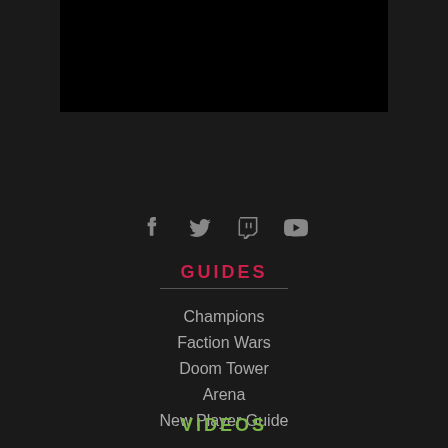[Figure (other): Black video/image block at the top center of the page]
[Figure (other): Social media icons row: Facebook, Twitter, Twitch, YouTube — all in gray]
GUIDES
Champions
Faction Wars
Doom Tower
Arena
New Player Guide
VIDEOS